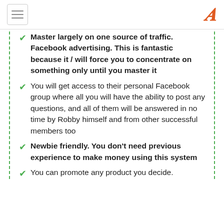[hamburger menu] [A logo]
Master largely on one source of traffic. Facebook advertising. This is fantastic because it / will force you to concentrate on something only until you master it
You will get access to their personal Facebook group where all you will have the ability to post any questions, and all of them will be answered in no time by Robby himself and from other successful members too
Newbie friendly. You don't need previous experience to make money using this system
You can promote any product you decide.